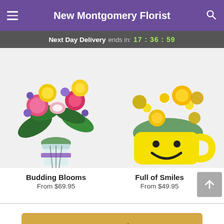New Montgomery Florist
Next Day Delivery ends in: 17 : 36 : 59
[Figure (photo): Budding Blooms: colorful mixed flower bouquet with yellow roses, pink carnations, purple flowers in a glass vase with purple ribbon]
Budding Blooms
From $69.95
[Figure (photo): Full of Smiles: yellow roses and white daisies arranged in a yellow smiley face mug]
Full of Smiles
From $49.95
Start Order